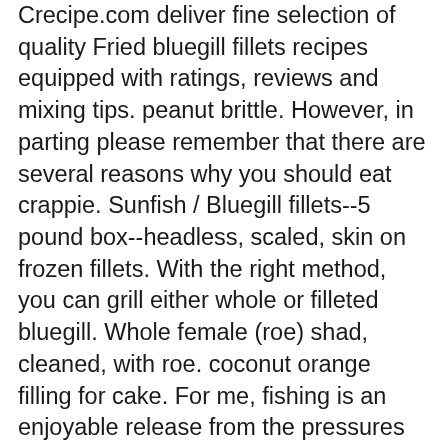Crecipe.com deliver fine selection of quality Fried bluegill fillets recipes equipped with ratings, reviews and mixing tips. peanut brittle. However, in parting please remember that there are several reasons why you should eat crappie. Sunfish / Bluegill fillets--5 pound box--headless, scaled, skin on frozen fillets. With the right method, you can grill either whole or filleted bluegill. Whole female (roe) shad, cleaned, with roe. coconut orange filling for cake. For me, fishing is an enjoyable release from the pressures of life. caramel popcorn (cracker jacks) cooks mini cracker cheesecake appetizers. i love trying new foods and new recipes.. and when i try something new with kids i always have a back up plan. Are you seriously looking turn your hobby into a business? size 8-12 is great! We've recently updated this product to be vacuum-packed in roughly 1 pound packages. Grilled bluegill are a perfect summer pastime. You see, there is definitely a reason why these fish and bluegills are classified as panfish; it's because it's a very tasty treat! Better than shrimp. Allow 1 or 2 small fish per serving. Learn how to cook great Fried bluegill fillets . Grilling them whole lets